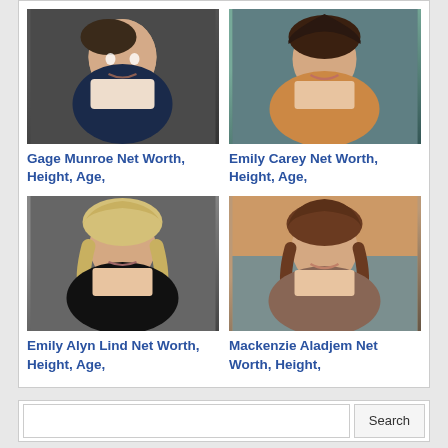[Figure (photo): Headshot of Gage Munroe, young male with light hair, smiling, dark background]
Gage Munroe Net Worth, Height, Age,
[Figure (photo): Photo of Emily Carey, young female with dark wavy hair, festival backdrop]
Emily Carey Net Worth, Height, Age,
[Figure (photo): Headshot of Emily Alyn Lind, young female with blonde hair, black top, studio shot]
Emily Alyn Lind Net Worth, Height, Age,
[Figure (photo): Photo of Mackenzie Aladjem, young female smiling, outdoor sunset background]
Mackenzie Aladjem Net Worth, Height,